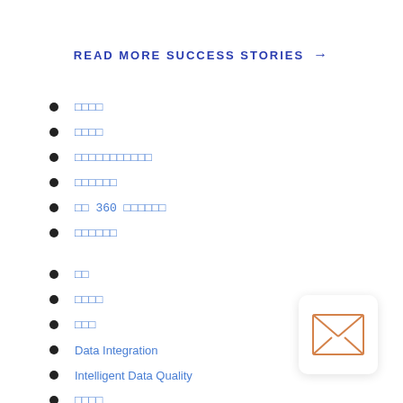READ MORE SUCCESS STORIES →
□□□□
□□□□
□□□□□□□□□□□
□□□□□□
□□ 360 □□□□□□
□□□□□□
□□
□□□□
□□□
Data Integration
Intelligent Data Quality
□□□□
□□□□□
□□□□
[Figure (illustration): Orange envelope/mail icon in a white rounded box with shadow]